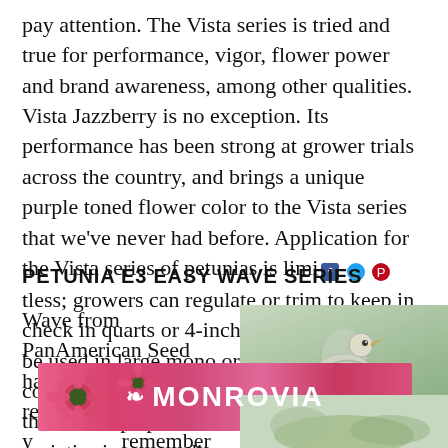pay attention. The Vista series is tried and true for performance, vigor, flower power and brand awareness, among other qualities. Vista Jazzberry is no exception. Its performance has been strong at grower trials across the country, and brings a unique purple toned flower color to the Vista series that we've never had before. Application for the Vista series of petunias is limitless; growers can regulate or trim to keep in check in quarts or 4-inch pots, and also can be used in large mono or mixed patio containers or hanging baskets. Furthermore, the landscape presentation with these varieties is outstanding, and I look forward to adding Jazzberry to some of my own home landscape uses.
PETUNIA E3 EASY WAVE SERIES
Wave from PanAmerican Seed has been a powerful recogni... over 25 years... remember having a
[Figure (photo): Photo of pink flowers with bird, partially overlaid by a Monrovia advertisement banner]
[Figure (advertisement): Monrovia advertisement banner with pink echinacea flowers and white Monrovia logo text with leaf icon]